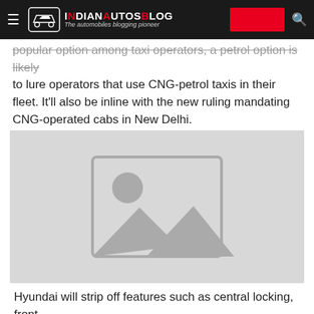IndianAutosBlog - The automobiles blogging pioneer
popular option among taxi operators, a petrol option is likely to lure operators that use CNG-petrol taxis in their fleet. It'll also be inline with the new ruling mandating CNG-operated cabs in New Delhi.
[Figure (photo): Placeholder image with generic image icon (mountains and sun silhouette) on light gray background]
Hyundai will strip off features such as central locking, front